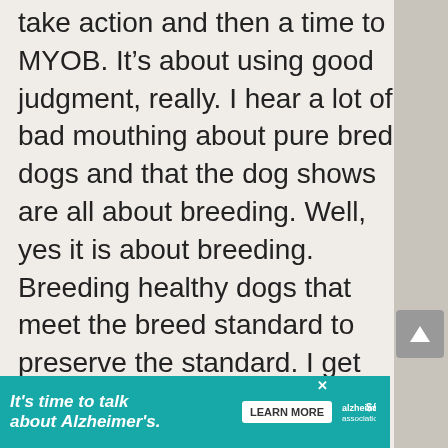take action and then a time to MYOB. It's about using good judgment, really. I hear a lot of bad mouthing about pure bred dogs and that the dog shows are all about breeding. Well, yes it is about breeding. Breeding healthy dogs that meet the breed standard to preserve the standard. I get annoyed because everyone associates breeding a dog with puppy mills.
Another example was when I
[Figure (other): Advertisement banner: It's time to talk about Alzheimer's. with Learn More button and Alzheimer's Association logo]